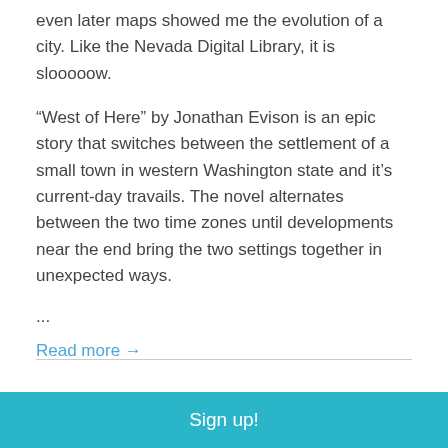even later maps showed me the evolution of a city. Like the Nevada Digital Library, it is slooooow.
“West of Here” by Jonathan Evison is an epic story that switches between the settlement of a small town in western Washington state and it’s current-day travails. The novel alternates between the two time zones until developments near the end bring the two settings together in unexpected ways.
...
Read more →
Sign up!